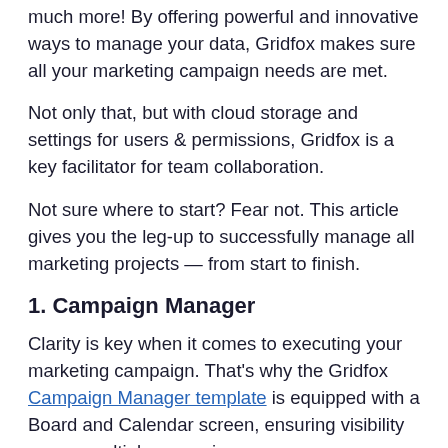much more! By offering powerful and innovative ways to manage your data, Gridfox makes sure all your marketing campaign needs are met.
Not only that, but with cloud storage and settings for users & permissions, Gridfox is a key facilitator for team collaboration.
Not sure where to start? Fear not. This article gives you the leg-up to successfully manage all marketing projects — from start to finish.
1. Campaign Manager
Clarity is key when it comes to executing your marketing campaign. That's why the Gridfox Campaign Manager template is equipped with a Board and Calendar screen, ensuring visibility across multiple campaigns.